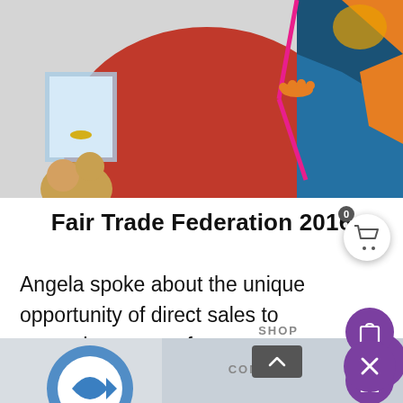[Figure (photo): Photo of two people at Fair Trade Federation event, one in red top and one in blue patterned clothing with pink lanyard]
Fair Trade Federation 2016
Angela spoke about the unique opportunity of direct sales to expand access to f e Pictured here with Ben from Ben & Jerry's!
[Figure (photo): Bottom partial photo strip showing a logo/graphic]